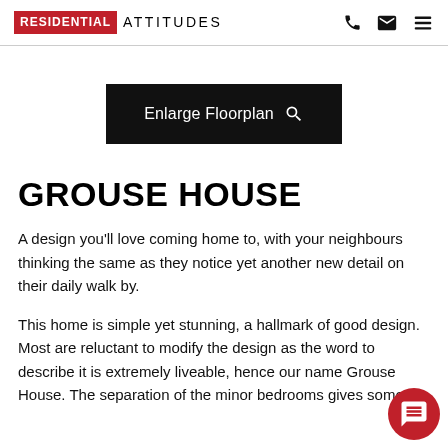RESIDENTIAL ATTITUDES
[Figure (other): Enlarge Floorplan button with search icon]
GROUSE HOUSE
A design you'll love coming home to, with your neighbours thinking the same as they notice yet another new detail on their daily walk by.
This home is simple yet stunning, a hallmark of good design. Most are reluctant to modify the design as the word to describe it is extremely liveable, hence our name Grouse House. The separation of the minor bedrooms gives some...